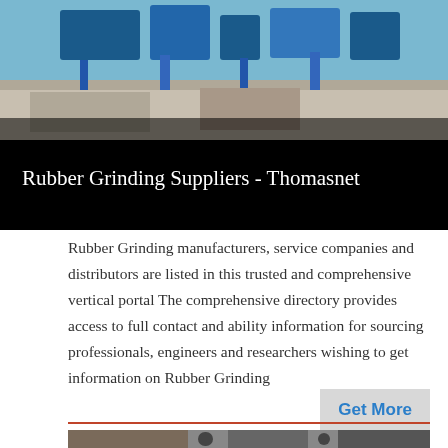[Figure (photo): Aerial or close-up view of industrial rubber grinding machinery and equipment with blue machinery components visible from above]
Rubber Grinding Suppliers - Thomasnet
Rubber Grinding manufacturers, service companies and distributors are listed in this trusted and comprehensive vertical portal The comprehensive directory provides access to full contact and ability information for sourcing professionals, engineers and researchers wishing to get information on Rubber Grinding
[Figure (photo): Industrial machinery showing large pipe systems and grinding equipment in an outdoor industrial setting]